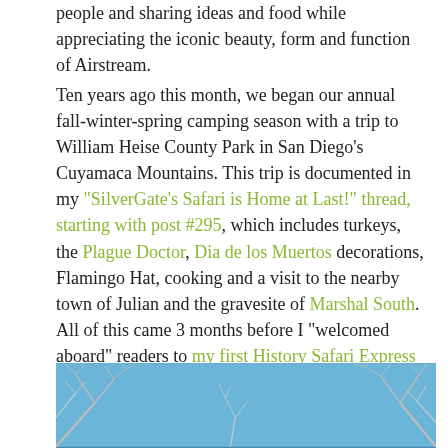people and sharing ideas and food while appreciating the iconic beauty, form and function of Airstream.
Ten years ago this month, we began our annual fall-winter-spring camping season with a trip to William Heise County Park in San Diego's Cuyamaca Mountains. This trip is documented in my "SilverGate's Safari is Home at Last!" thread, starting with post #295, which includes turkeys, the Plague Doctor, Dia de los Muertos decorations, Flamingo Hat, cooking and a visit to the nearby town of Julian and the gravesite of Marshal South. All of this came 3 months before I "welcomed aboard" readers to my first History Safari Express blog post in January, 2008!
[Figure (photo): Winter bare tree branches against a blue sky, bottom portion of image visible]